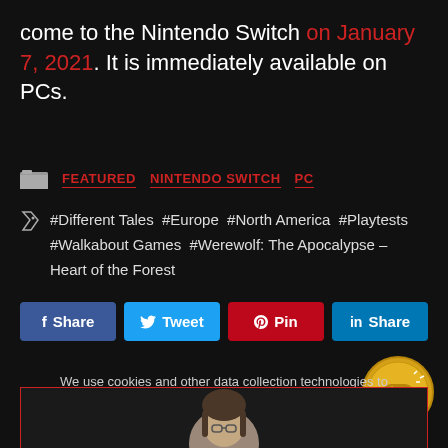come to the Nintendo Switch on January 7, 2021. It is immediately available on PCs.
FEATURED  NINTENDO SWITCH  PC
#Different Tales #Europe #North America #Playtests #Walkabout Games #Werewolf: The Apocalypse – Heart of the Forest
Share  Tweet  Pin  Share
We use cookies and other data collection technologies to provide the best experience for our customers. You may request that your data not be shared with third parties here: Do Not Sell My Data.